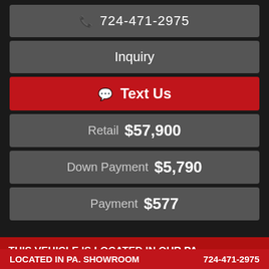📞 724-471-2975
Inquiry
💬 Text Us
Retail  $57,900
Down Payment  $5,790
Payment  $577
THIS VEHICLE IS LOCATED IN OUR PA. SHOWROOM, FREE SHIPPING AND WARRANTY
1968 Pontiac GTO
LOCATED IN PA. SHOWROOM   724-471-2975